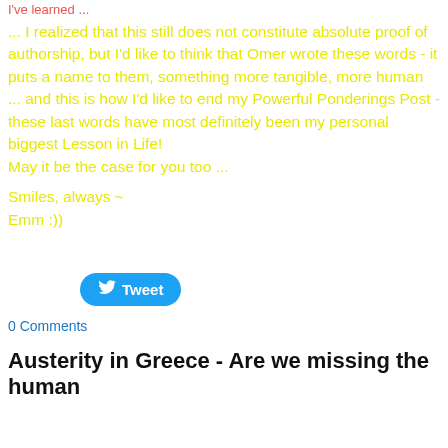I've learned ...
... I realized that this still does not constitute absolute proof of authorship, but I'd like to think that Omer wrote these words - it puts a name to them, something more tangible, more human ... and this is how I'd like to end my Powerful Ponderings Post - these last words have most definitely been my personal biggest Lesson in Life!
May it be the case for you too ...
Smiles, always ~
Emm :))
[Figure (other): Tweet button (Twitter social share button)]
0 Comments
Austerity in Greece - Are we missing the human